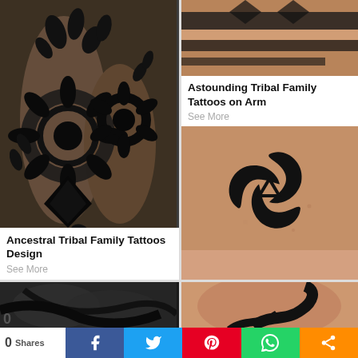[Figure (photo): Black and white floral/botanical tattoo sleeve covering both arms, with intricate mandala and flower designs on brick background]
Ancestral Tribal Family Tattoos Design
See More
[Figure (photo): Close-up of a person's arm/chest showing tribal family tattoo designs]
Astounding Tribal Family Tattoos on Arm
See More
[Figure (photo): Tribal triple horn of Odin / triskelion black tattoo on person's ribcage/side]
[Figure (photo): Partial view of dark tattoo on person's chest/shoulder area]
[Figure (photo): Partial view of tattoo on arm/shoulder]
0 Shares  f  t  p  [whatsapp]  [share]